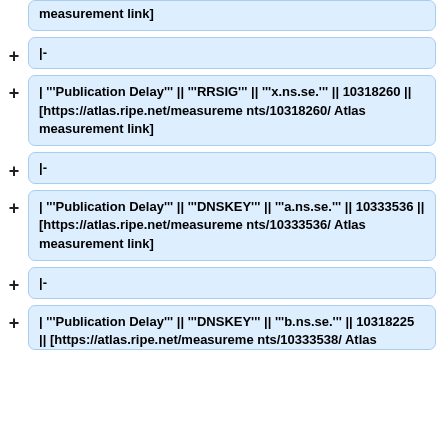[https://atlas.ripe.net/measurements/... measurement link]
|-
| '''Publication Delay''' || '''RRSIG''' || '''x.ns.se.''' || 10318260 || [https://atlas.ripe.net/measurements/10318260/ Atlas measurement link]
|-
| '''Publication Delay''' || '''DNSKEY''' || '''a.ns.se.''' || 10333536 || [https://atlas.ripe.net/measurements/10333536/ Atlas measurement link]
|-
| '''Publication Delay''' || '''DNSKEY''' || '''b.ns.se.''' || 10318225 || [https://atlas.ripe.net/measurements/10333538/ Atlas measurement link]